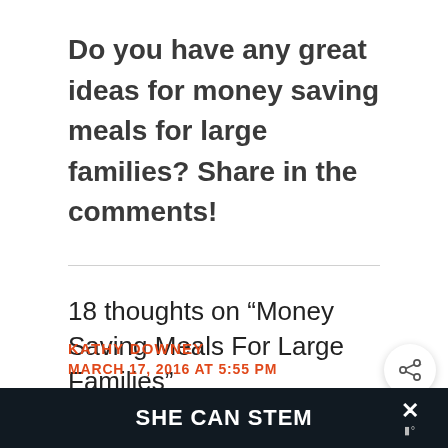Do you have any great ideas for money saving meals for large families? Share in the comments!
18 thoughts on “Money Saving Meals For Large Families”
KATHY DOWNEY
MARCH 17, 2016 AT 5:55 PM
SHE CAN STEM